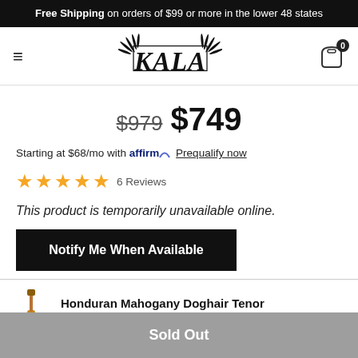Free Shipping on orders of $99 or more in the lower 48 states
[Figure (logo): KALA brand logo with decorative palm-leaf lettering, hamburger menu icon on left, shopping cart with badge '0' on right]
$979  $749
Starting at $68/mo with affirm. Prequalify now
★★★★★ 6 Reviews
This product is temporarily unavailable online.
Notify Me When Available
Honduran Mahogany Doghair Tenor  $979.00  $749.00
Sold Out